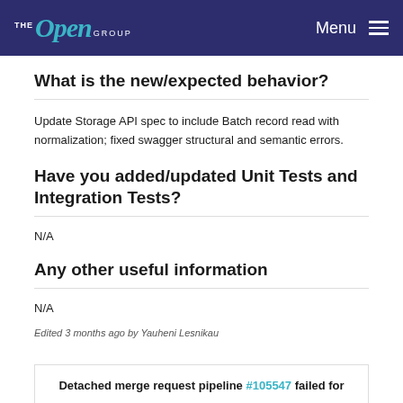THE Open GROUP | Menu
What is the new/expected behavior?
Update Storage API spec to include Batch record read with normalization; fixed swagger structural and semantic errors.
Have you added/updated Unit Tests and Integration Tests?
N/A
Any other useful information
N/A
Edited 3 months ago by Yauheni Lesnikau
Detached merge request pipeline #105547 failed for